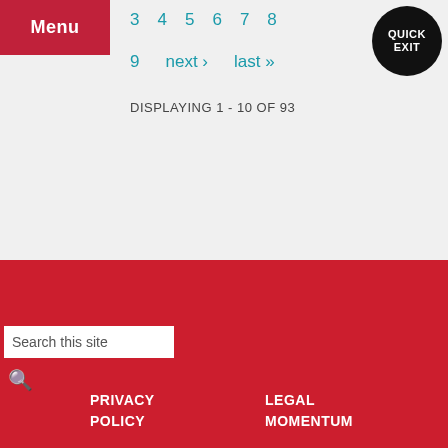Menu
QUICK EXIT
3  4  5  6  7  8
9  next ›  last »
DISPLAYING 1 - 10 OF 93
GET HELP  DONATE  SUBSCRIBE
Search this site
PRIVACY POLICY
LEGAL MOMENTUM
TERMS OF USE
32 BROADWAY